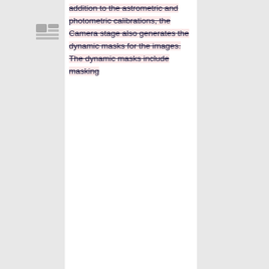addition to the astrometric and photometric calibrations, the Camera stage also generates the dynamic masks for the images. The dynamic masks include masking